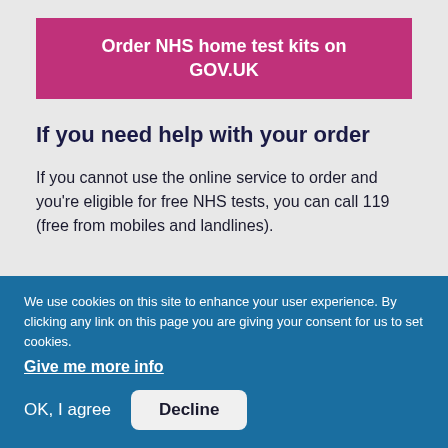[Figure (other): Pink/magenta button with white bold text reading 'Order NHS home test kits on GOV.UK']
If you need help with your order
If you cannot use the online service to order and you're eligible for free NHS tests, you can call 119 (free from mobiles and landlines).
We use cookies on this site to enhance your user experience. By clicking any link on this page you are giving your consent for us to set cookies.
Give me more info
OK, I agree   Decline